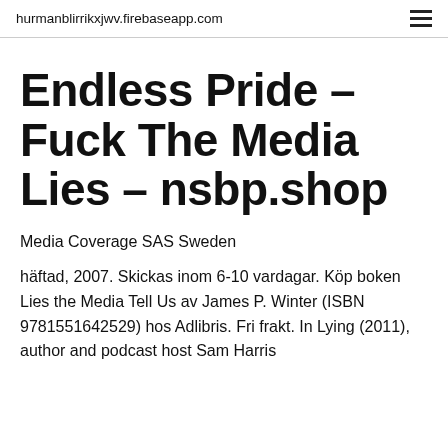hurmanblirrikxjwv.firebaseapp.com
Endless Pride – Fuck The Media Lies – nsbp.shop
Media Coverage SAS Sweden
häftad, 2007. Skickas inom 6-10 vardagar. Köp boken Lies the Media Tell Us av James P. Winter (ISBN 9781551642529) hos Adlibris. Fri frakt. In Lying (2011), author and podcast host Sam Harris